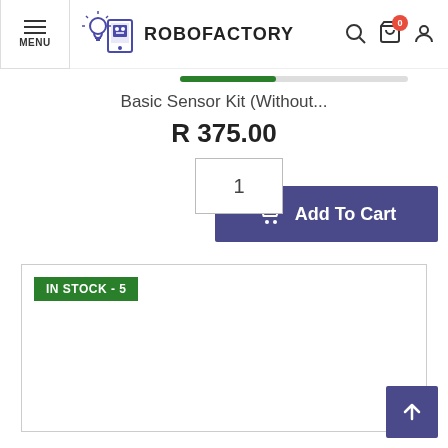[Figure (screenshot): Robofactory website header with menu button, logo (lightbulb and robot icon), brand name ROBOFACTORY, search icon, shopping bag icon with badge 0, and user icon]
Basic Sensor Kit (Without...
R 375.00
1
Add To Cart
IN STOCK - 5